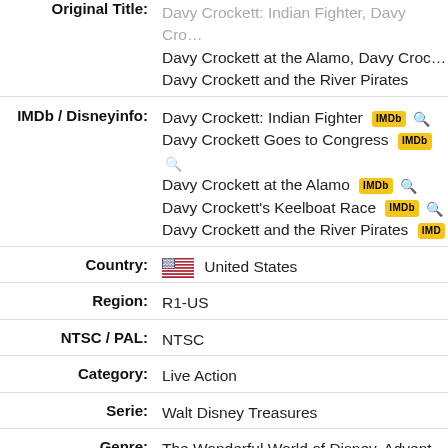Original Title: Davy Crockett: Indian Fighter, Davy Crockett at the Alamo, Davy Crockett and the River Pirates
IMDb / Disneyinfo: Davy Crockett: Indian Fighter [IMDb] Davy Crockett Goes to Congress [IMDb] Davy Crockett at the Alamo [IMDb] Davy Crockett's Keelboat Race [IMDb] Davy Crockett and the River Pirates [IMDb]
Country: United States
Region: R1-US
NTSC / PAL: NTSC
Category: Live Action
Serie: Walt Disney Treasures
Genre: The Wonderful World of Disney, Adventure, Educational
Release Date: 04-12-2001